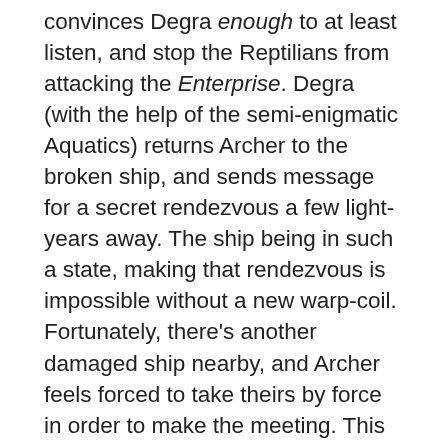convinces Degra enough to at least listen, and stop the Reptilians from attacking the Enterprise. Degra (with the help of the semi-enigmatic Aquatics) returns Archer to the broken ship, and sends message for a secret rendezvous a few light-years away. The ship being in such a state, making that rendezvous is impossible without a new warp-coil. Fortunately, there's another damaged ship nearby, and Archer feels forced to take theirs by force in order to make the meeting. This is without question his lowest point, committing for all intents an act of piracy in the name of saving Earth. It's very non-Trek, which works excellently for the sake of drama. Capt. Archer is torn up to do it, but he feels he has no choice. You could easily see, for example, Cmdr. Adama, John Crichton or Malcolm Reynolds doing the exact same thing under the same circumstances. The only question is, would they feel the same weight? As horrible as the act is, it is in service of, ultimately, a Trek-solution: solving the Xindi situation through dialogue instead of violence.